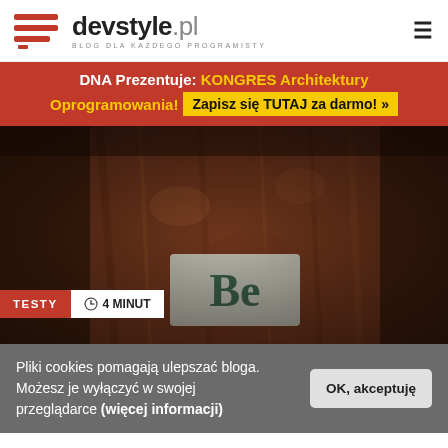devstyle.pl — BLOG DLA KAŻDEGO PROGRAMISTY
DNA Prezentuje: KONGRES Architektury Oprogramowania! Zapisz się TUTAJ za darmo! »
[Figure (photo): Close-up photo of a wooden door or panel with a 'Be' label/nameplate in the center. Dark, moody tones. Overlaid tags: TESTY, clock icon, 4 MINUT.]
Pliki cookies pomagają ulepszać bloga. Możesz je wyłączyć w swojej przeglądarce (więcej informacji)
OK, akceptuję